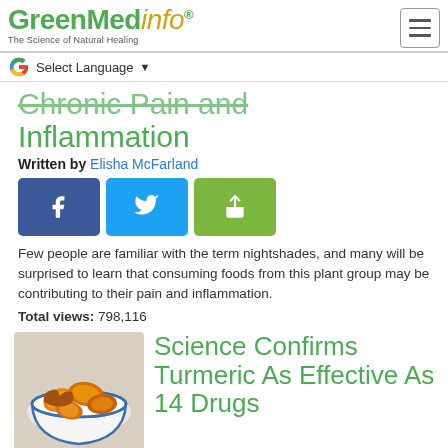GreenMedinfo - The Science of Natural Healing
Chronic Pain and Inflammation
Written by Elisha McFarland
[Figure (other): Social share buttons: Facebook, Twitter, Share]
Few people are familiar with the term nightshades, and many will be surprised to learn that consuming foods from this plant group may be contributing to their pain and inflammation.
Total views: 798,116
[Figure (photo): Bowl of sliced turmeric root pieces, orange and yellow colored]
Science Confirms Turmeric As Effective As 14 Drugs